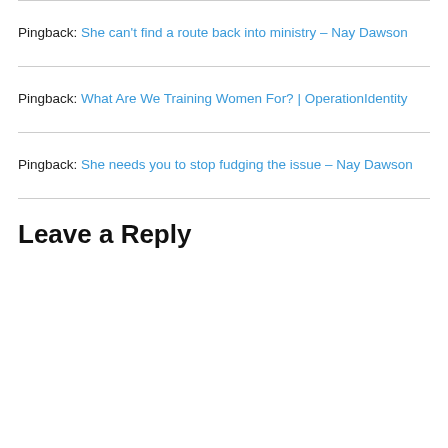Pingback: She can't find a route back into ministry – Nay Dawson
Pingback: What Are We Training Women For? | OperationIdentity
Pingback: She needs you to stop fudging the issue – Nay Dawson
Leave a Reply